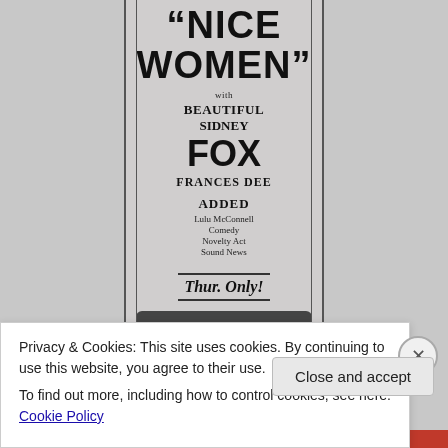[Figure (other): Vintage movie advertisement for 'Nice Women' featuring Sidney Fox and Frances Dee at the Capitol theatre, showing Thursday only. Black and white newspaper ad with double border lines.]
Privacy & Cookies: This site uses cookies. By continuing to use this website, you agree to their use.
To find out more, including how to control cookies, see here: Cookie Policy